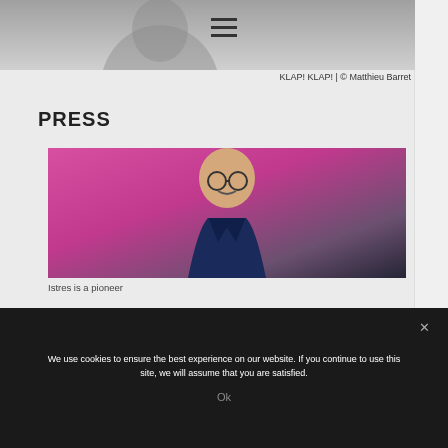[Figure (photo): Grayscale photo strip at top of page showing a partial figure, cropped]
KLAP! KLAP! | © Matthieu Barret
PRESS
[Figure (photo): Photo of a man with glasses and mustache wearing a dark jacket against a pink/magenta background]
Istres is a pioneer
We use cookies to ensure the best experience on our website. If you continue to use this site, we will assume that you are satisfied.
Ok